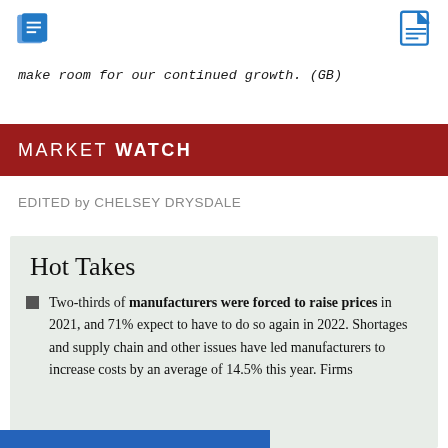make room for our continued growth. (GB)
MARKET WATCH
EDITED by CHELSEY DRYSDALE
Hot Takes
Two-thirds of manufacturers were forced to raise prices in 2021, and 71% expect to have to do so again in 2022. Shortages and supply chain and other issues have led manufacturers to increase costs by an average of 14.5% this year. Firms other 7-8% next year. (IPC)